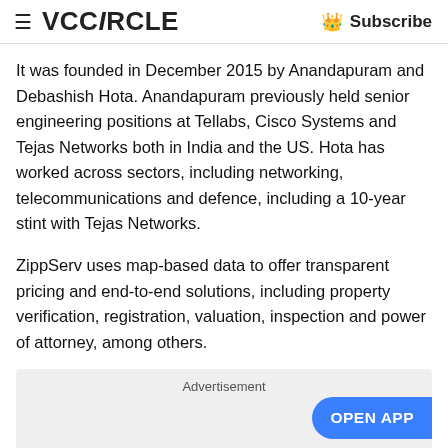VCCiRCLE   Subscribe
It was founded in December 2015 by Anandapuram and Debashish Hota. Anandapuram previously held senior engineering positions at Tellabs, Cisco Systems and Tejas Networks both in India and the US. Hota has worked across sectors, including networking, telecommunications and defence, including a 10-year stint with Tejas Networks.
ZippServ uses map-based data to offer transparent pricing and end-to-end solutions, including property verification, registration, valuation, inspection and power of attorney, among others.
[Figure (other): Advertisement placeholder box with 'Advertisement' label and 'OPEN APP' button]